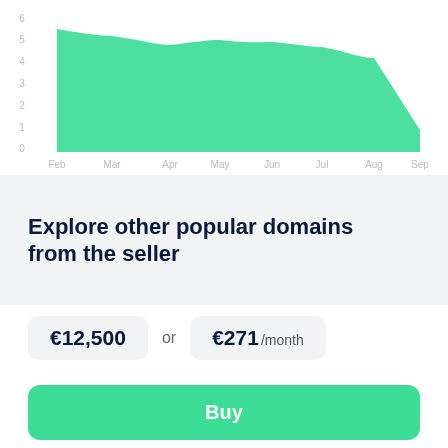[Figure (area-chart): Traffic or metric over time]
Explore other popular domains from the seller
€12,500 or €271 /month
Buy